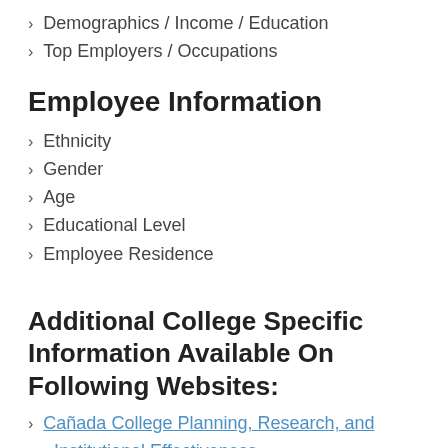Demographics / Income / Education
Top Employers / Occupations
Employee Information
Ethnicity
Gender
Age
Educational Level
Employee Residence
Additional College Specific Information Available On Following Websites:
Cañada College Planning, Research, and Institutional Effectiveness